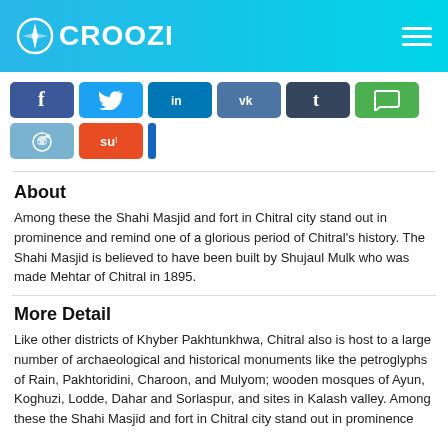CROOZI
[Figure (infographic): Social media share buttons: Facebook, Twitter, LinkedIn, VK, Tumblr, Message, Reddit, StumbleUpon, and a small blue bar]
About
Among these the Shahi Masjid and fort in Chitral city stand out in prominence and remind one of a glorious period of Chitral’s history. The Shahi Masjid is believed to have been built by Shujaul Mulk who was made Mehtar of Chitral in 1895.
More Detail
Like other districts of Khyber Pakhtunkhwa, Chitral also is host to a large number of archaeological and historical monuments like the petroglyphs of Rain, Pakhtoridini, Charoon, and Mulyom; wooden mosques of Ayun, Koghuzi, Lodde, Dahar and Sorlaspur, and sites in Kalash valley. Among these the Shahi Masjid and fort in Chitral city stand out in prominence